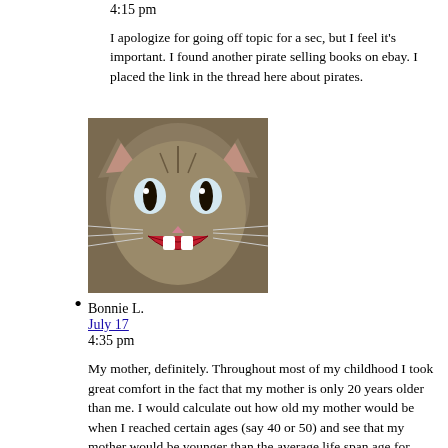4:15 pm
I apologize for going off topic for a sec, but I feel it’s important. I found another pirate selling books on ebay. I placed the link in the thread here about pirates.
[Figure (photo): A photo of a cat with mouth open, appearing to be meowing or yelling, used as a user avatar.]
Bonnie L.
July 17
4:35 pm
My mother, definitely. Throughout most of my childhood I took great comfort in the fact that my mother is only 20 years older than me. I would calculate out how old my mother would be when I reached certain ages (say 40 or 50) and see that my mother would be younger than the average life span age for women and rejoice. I really didn’t want to envision being left alone with my father. Don’t get me wrong, my dad is a good man, but he always leaves a lot to be desired emotionally. As an adult, I have learned that I have the best relationship with my dad when I engage him